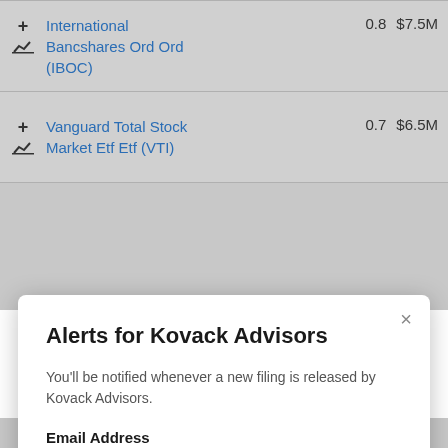|  | Name | Value1 | Value2 |
| --- | --- | --- | --- |
| +/chart | International Bancshares Ord Ord (IBOC) | 0.8 | $7.5M |
| +/chart | Vanguard Total Stock Market Etf Etf (VTI) | 0.7 | $6.5M |
Alerts for Kovack Advisors
You'll be notified whenever a new filing is released by Kovack Advisors.
Email Address
Enter your email
Sign up
Already have an account?